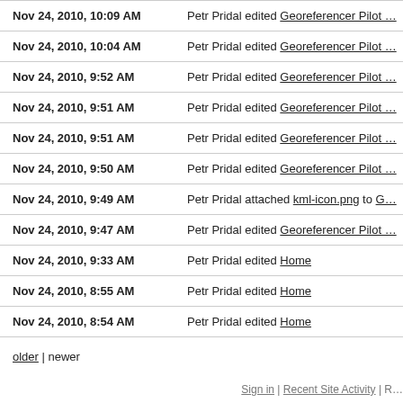| Date | Activity |
| --- | --- |
| Nov 24, 2010, 10:09 AM | Petr Pridal edited Georeferencer Pilot … |
| Nov 24, 2010, 10:04 AM | Petr Pridal edited Georeferencer Pilot … |
| Nov 24, 2010, 9:52 AM | Petr Pridal edited Georeferencer Pilot … |
| Nov 24, 2010, 9:51 AM | Petr Pridal edited Georeferencer Pilot … |
| Nov 24, 2010, 9:51 AM | Petr Pridal edited Georeferencer Pilot … |
| Nov 24, 2010, 9:50 AM | Petr Pridal edited Georeferencer Pilot … |
| Nov 24, 2010, 9:49 AM | Petr Pridal attached kml-icon.png to G… |
| Nov 24, 2010, 9:47 AM | Petr Pridal edited Georeferencer Pilot … |
| Nov 24, 2010, 9:33 AM | Petr Pridal edited Home |
| Nov 24, 2010, 8:55 AM | Petr Pridal edited Home |
| Nov 24, 2010, 8:54 AM | Petr Pridal edited Home |
older | newer
Sign in | Recent Site Activity | R…